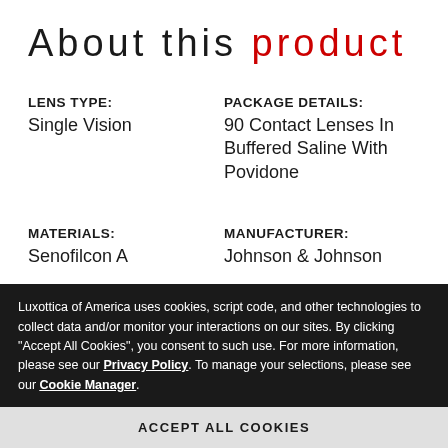About this product
LENS TYPE:
Single Vision
PACKAGE DETAILS:
90 Contact Lenses In Buffered Saline With Povidone
MATERIALS:
Senofilcon A
MANUFACTURER:
Johnson & Johnson
WATER CONTENT:
38%
Luxottica of America uses cookies, script code, and other technologies to collect data and/or monitor your interactions on our sites. By clicking "Accept All Cookies", you consent to such use. For more information, please see our Privacy Policy. To manage your selections, please see our Cookie Manager.
ACCEPT ALL COOKIES